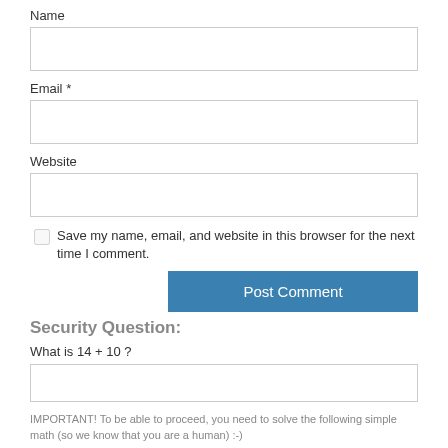Name
Email *
Website
Save my name, email, and website in this browser for the next time I comment.
Post Comment
Security Question:
What is 14 + 10 ?
IMPORTANT! To be able to proceed, you need to solve the following simple math (so we know that you are a human) :-)